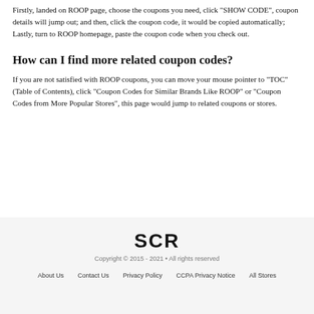Firstly, landed on ROOP page, choose the coupons you need, click "SHOW CODE", coupon details will jump out; and then, click the coupon code, it would be copied automatically; Lastly, turn to ROOP homepage, paste the coupon code when you check out.
How can I find more related coupon codes?
If you are not satisfied with ROOP coupons, you can move your mouse pointer to "TOC"(Table of Contents), click "Coupon Codes for Similar Brands Like ROOP" or "Coupon Codes from More Popular Stores", this page would jump to related coupons or stores.
[Figure (logo): SCR logo in bold black text]
Copyright © 2015 - 2021 • All rights reserved
About Us   Contact Us   Privacy Policy   CCPA Privacy Notice   All Stores